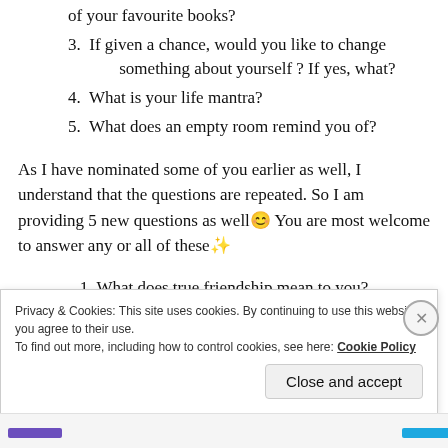of your favourite books?
3. If given a chance, would you like to change something about yourself ? If yes, what?
4. What is your life mantra?
5. What does an empty room remind you of?
As I have nominated some of you earlier as well, I understand that the questions are repeated. So I am providing 5 new questions as well😊 You are most welcome to answer any or all of these✨
1. What does true friendship mean to you?
Privacy & Cookies: This site uses cookies. By continuing to use this website, you agree to their use. To find out more, including how to control cookies, see here: Cookie Policy
Close and accept